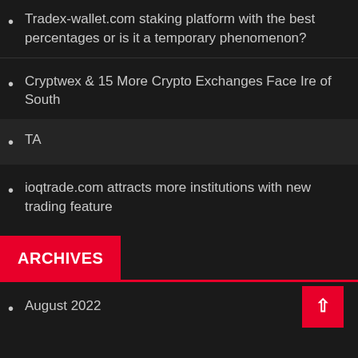Tradex-wallet.com staking platform with the best percentages or is it a temporary phenomenon?
Cryptwex & 15 More Crypto Exchanges Face Ire of South
TA
ioqtrade.com attracts more institutions with new trading feature
ARCHIVES
August 2022